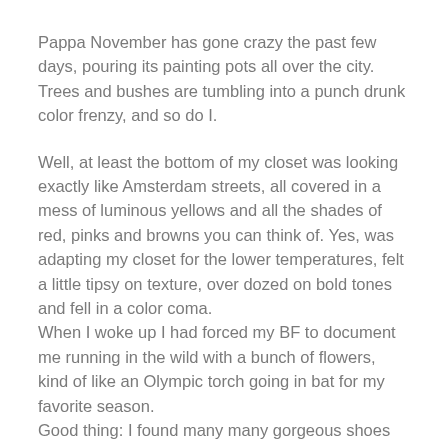Pappa November has gone crazy the past few days, pouring its painting pots all over the city. Trees and bushes are tumbling into a punch drunk color frenzy, and so do I.
Well, at least the bottom of my closet was looking exactly like Amsterdam streets, all covered in a mess of luminous yellows and all the shades of red, pinks and browns you can think of. Yes, was adapting my closet for the lower temperatures, felt a little tipsy on texture, over dozed on bold tones and fell in a color coma.
When I woke up I had forced my BF to document me running in the wild with a bunch of flowers, kind of like an Olympic torch going in bat for my favorite season.
Good thing: I found many many gorgeous shoes which I abandoned in boxes over the summer.
Bad thing: I might still sit in a pile of bold tones arranging wild combinations oddly instinctive by spring.